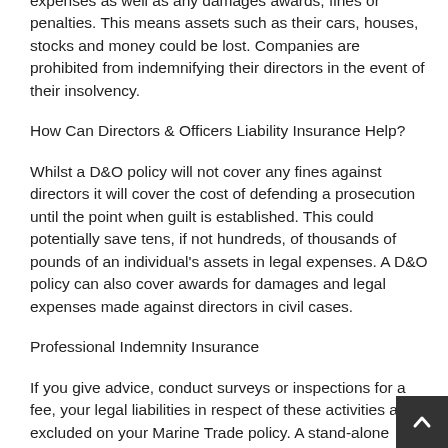expenses as well as any damages awards, fines or penalties. This means assets such as their cars, houses, stocks and money could be lost. Companies are prohibited from indemnifying their directors in the event of their insolvency.
How Can Directors & Officers Liability Insurance Help?
Whilst a D&O policy will not cover any fines against directors it will cover the cost of defending a prosecution until the point when guilt is established. This could potentially save tens, if not hundreds, of thousands of pounds of an individual's assets in legal expenses. A D&O policy can also cover awards for damages and legal expenses made against directors in civil cases.
Professional Indemnity Insurance
If you give advice, conduct surveys or inspections for a fee, your legal liabilities in respect of these activities are excluded on your Marine Trade policy. A stand-alone